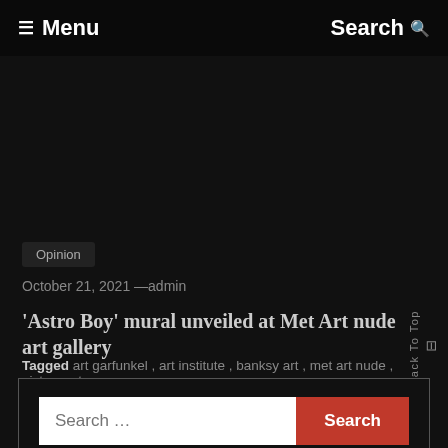☰ Menu   Search 🔍
[Figure (photo): Dark background hero image area]
Opinion
October 21, 2021 —admin
'Astro Boy' mural unveiled at Met Art nude art gallery
Tagged art garfunkel , art institute , banksy art , met art nude , picture art
Search ...  [Search button]
RECENT POSTS
How to Create a Graphic Artwork From Paper: Step by Step